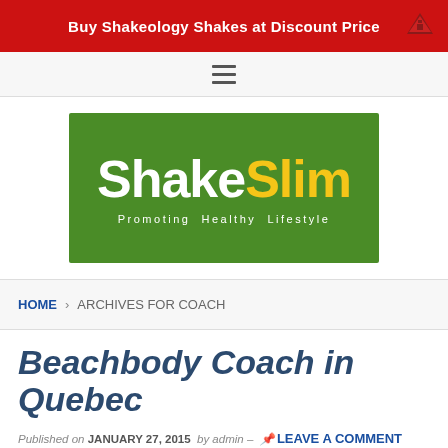Buy Shakeology Shakes at Discount Price
[Figure (logo): ShakeSlim logo — green background with white 'Shake' and yellow 'Slim' text, tagline 'Promoting Healthy Lifestyle']
HOME › ARCHIVES FOR COACH
Beachbody Coach in Quebec
Published on JANUARY 27, 2015 by admin - LEAVE A COMMENT